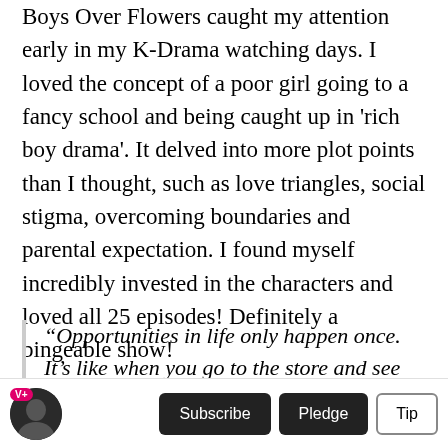Boys Over Flowers caught my attention early in my K-Drama watching days. I loved the concept of a poor girl going to a fancy school and being caught up in 'rich boy drama'. It delved into more plot points than I thought, such as love triangles, social stigma, overcoming boundaries and parental expectation. I found myself incredibly invested in the characters and loved all 25 episodes! Definitely a bingeable show!
“Opportunities in life only happen once. It’s like when you go to the store and see something but you don’t take it, maybe when you come back
Subscribe | Pledge | Tip